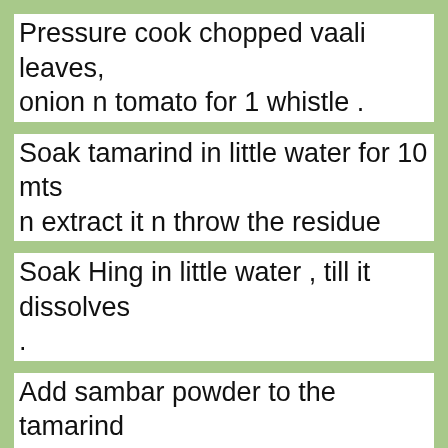Pressure cook chopped vaali leaves, onion n tomato for 1 whistle .
Soak tamarind in little water for 10 mts n extract it n throw the residue
Soak Hing in little water , till it dissolves .
Add sambar powder to the tamarind water n mix well .Add this to the cooked stuffs, along with salt  n boil well n then season .